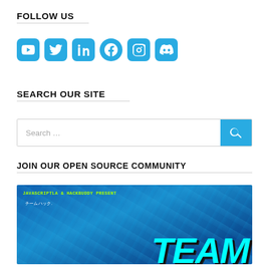FOLLOW US
[Figure (illustration): Social media icons: YouTube, Twitter, LinkedIn, Facebook, Instagram, Discord — all in cyan/blue rounded square icons]
SEARCH OUR SITE
[Figure (screenshot): Search input box with placeholder text 'Search ...' and a cyan search button with magnifying glass icon]
JOIN OUR OPEN SOURCE COMMUNITY
[Figure (illustration): Blue water background image with text 'JAVASCRIPTLA & HACKBUDDY PRESENT', Japanese text 'チームハック.', and large cyan 'TEAM' text in bold italic]